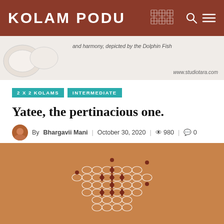KOLAM PODU
[Figure (screenshot): Partial image of jewelry with caption text and www.studiotara.com watermark]
2 X 2 KOLAMS
INTERMEDIATE
Yatee, the pertinacious one.
By Bhargavii Mani | October 30, 2020 | 980 | 0
[Figure (infographic): Social share buttons: share icon, Facebook, Twitter, Pinterest, WhatsApp]
[Figure (illustration): Kolam pattern (geometric rangoli design) drawn in white on tan/brown background]